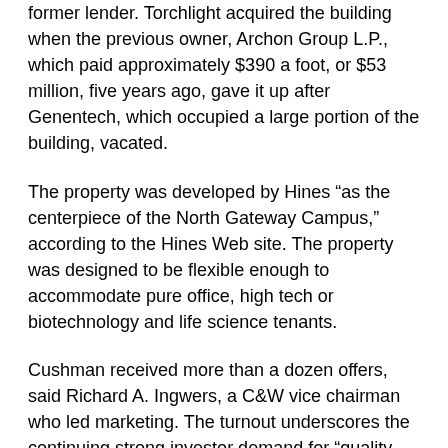former lender. Torchlight acquired the building when the previous owner, Archon Group L.P., which paid approximately $390 a foot, or $53 million, five years ago, gave it up after Genentech, which occupied a large portion of the building, vacated.
The property was developed by Hines “as the centerpiece of the North Gateway Campus,” according to the Hines Web site. The property was designed to be flexible enough to accommodate pure office, high tech or biotechnology and life science tenants.
Cushman received more than a dozen offers, said Richard A. Ingwers, a C&W vice chairman who led marketing. The turnout underscores the continuing strong investor demand for “quality office buildings in the Bay Area,” Ingwers said.
The demand is of particular note because South San